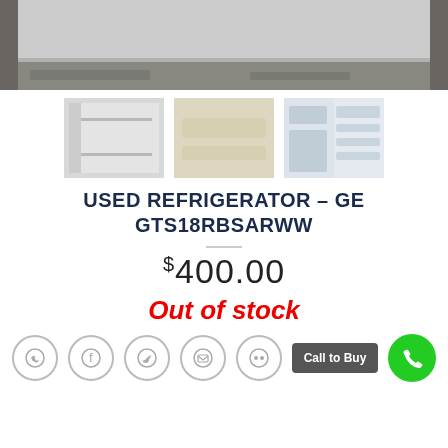[Figure (photo): Main product photo of a white GE refrigerator bottom portion on concrete floor]
[Figure (photo): Three thumbnail photos of the used GE refrigerator from different angles: exterior, interior door shelves, and open interior]
USED REFRIGERATOR – GE GTS18RBSARWW
$400.00
Out of stock
Call to Buy